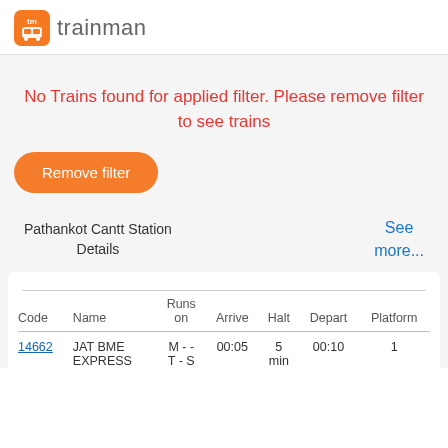[Figure (logo): Trainman logo: orange square with train icon and 'tm' text, followed by 'trainman' wordmark in gray]
No Trains found for applied filter. Please remove filter to see trains
Remove filter
Pathankot Cantt Station Details
See more...
| Code | Name | Runs on | Arrive | Halt | Depart | Platform |
| --- | --- | --- | --- | --- | --- | --- |
| 14662 | JAT BME EXPRESS | M - - T - S | 00:05 | 5 min | 00:10 | 1 |